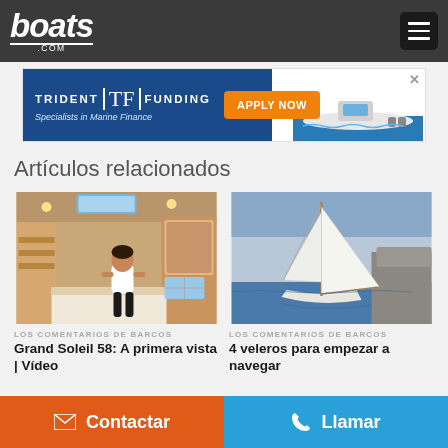boats.com
[Figure (infographic): Trident Funding advertisement banner - Specialists in Marine Finance with Apply Now button]
Artículos relacionados
[Figure (photo): Boat interior with a man sitting on a bed, wooden cabin walls with shelves and skylight]
LOS COMENTARIOS DE BARCOS
Grand Soleil 58: A primera vista | Vídeo
[Figure (photo): Sailboat with white sails on water near rocky shore]
LOS COMENTARIOS DE BARCOS
4 veleros para empezar a navegar
Contactar
Llamar